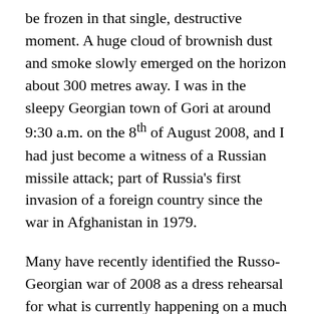be frozen in that single, destructive moment. A huge cloud of brownish dust and smoke slowly emerged on the horizon about 300 metres away. I was in the sleepy Georgian town of Gori at around 9:30 a.m. on the 8th of August 2008, and I had just become a witness of a Russian missile attack; part of Russia's first invasion of a foreign country since the war in Afghanistan in 1979.
Many have recently identified the Russo-Georgian war of 2008 as a dress rehearsal for what is currently happening on a much larger scale in Ukraine. The parallels are indeed striking and disturbing. False claims of genocide of the local Ossetian population were promulgated on the internet months before the invasion, just as claims of Ukrainian genocides of Russian speakers have multiplied. Russia used local